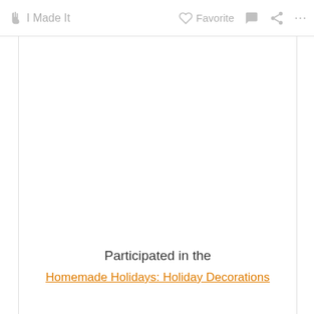✋ I Made It   ♡ Favorite  💬  ⋖  ···
Participated in the
Homemade Holidays: Holiday Decorations